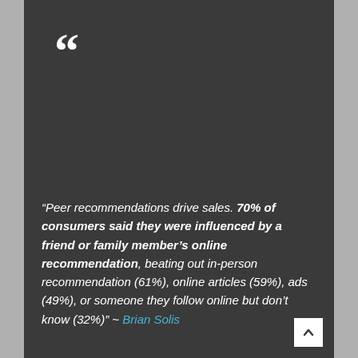[Figure (other): Large decorative open double quotation mark in white on dark background]
“Peer recommendations drive sales. 70% of consumers said they were influenced by a friend or family member’s online recommendation, beating out in-person recommendation (61%), online articles (59%), ads (49%), or someone they follow online but don’t know (32%)” ~ Brian Solis